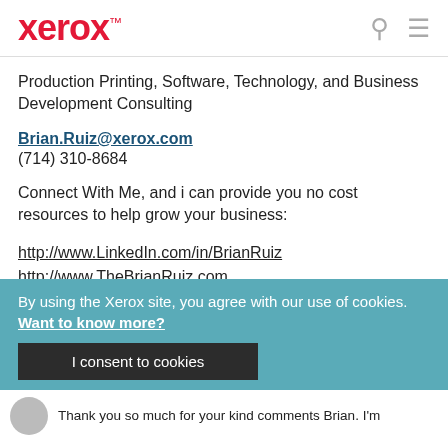xerox™
Production Printing, Software, Technology, and Business Development Consulting
Brian.Ruiz@xerox.com
(714) 310-8684
Connect With Me, and i can provide you no cost resources to help grow your business:
http://www.LinkedIn.com/in/BrianRuiz
http://www.TheBrianRuiz.com
Twitter: @TheBrianRuiz
By using the Xerox site, you agree with our use of cookies. Want to know more?
I consent to cookies
Thank you so much for your kind comments Brian. I'm